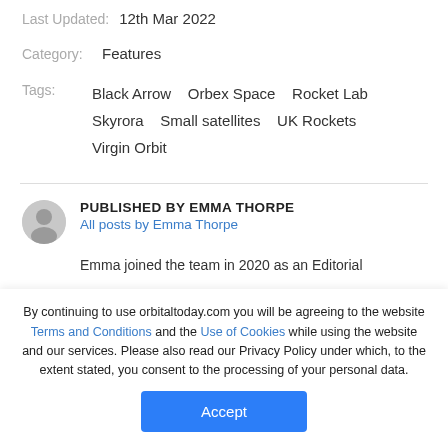Last Updated: 12th Mar 2022
Category: Features
Tags: Black Arrow   Orbex Space   Rocket Lab   Skyrora   Small satellites   UK Rockets   Virgin Orbit
PUBLISHED BY EMMA THORPE
All posts by Emma Thorpe
Emma joined the team in 2020 as an Editorial
By continuing to use orbitaltoday.com you will be agreeing to the website Terms and Conditions and the Use of Cookies while using the website and our services. Please also read our Privacy Policy under which, to the extent stated, you consent to the processing of your personal data.
Accept